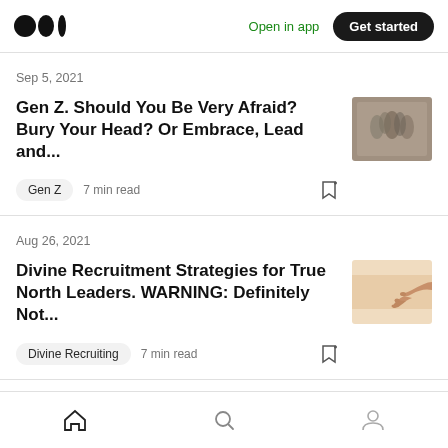Medium logo | Open in app | Get started
Sep 5, 2021
Gen Z. Should You Be Very Afraid? Bury Your Head? Or Embrace, Lead and...
Gen Z   7 min read
Aug 26, 2021
Divine Recruitment Strategies for True North Leaders. WARNING: Definitely Not...
Divine Recruiting   7 min read